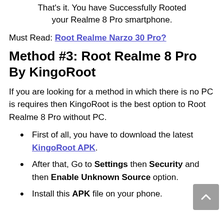That's it. You have Successfully Rooted your Realme 8 Pro smartphone.
Must Read: Root Realme Narzo 30 Pro?
Method #3: Root Realme 8 Pro By KingoRoot
If you are looking for a method in which there is no PC is requires then KingoRoot is the best option to Root Realme 8 Pro without PC.
First of all, you have to download the latest KingoRoot APK.
After that, Go to Settings then Security and then Enable Unknown Source option.
Install this APK file on your phone.